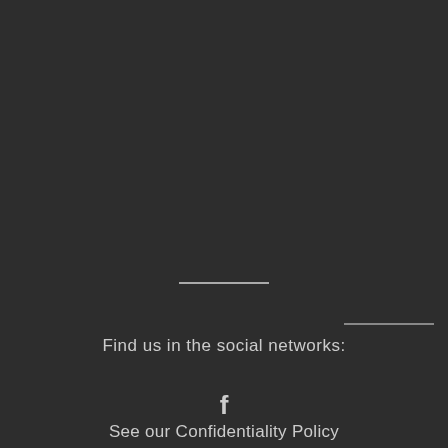Find us in the social networks:
[Figure (logo): Facebook logo icon (letter f in white)]
See our Confidentiality Policy